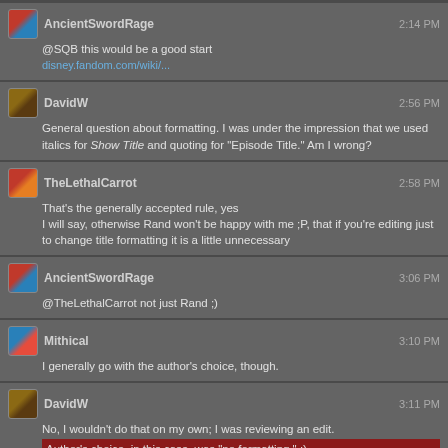AncientSwordRage 2:14 PM
@SQB this would be a good start
disney.fandom.com/wiki/...
DavidW 2:56 PM
General question about formatting. I was under the impression that we used italics for Show Title and quoting for "Episode Title." Am I wrong?
TheLethalCarrot 2:58 PM
That's the generally accepted rule, yes
I will say, otherwise Rand won't be happy with me ;P, that if you're editing just to change title formatting it is a little unnecessary
AncientSwordRage 3:06 PM
@TheLethalCarrot not just Rand ;)
Mithical 3:10 PM
I generally go with the author's choice, though.
DavidW 3:11 PM
No, I wouldn't do that on my own; I was reviewing an edit.
Author's choice, in this case, was "no formatting." :)
AncientSwordRage 3:14 PM
@Mithical that does override other formatting guidelines
sorry for the extra pinging >_<